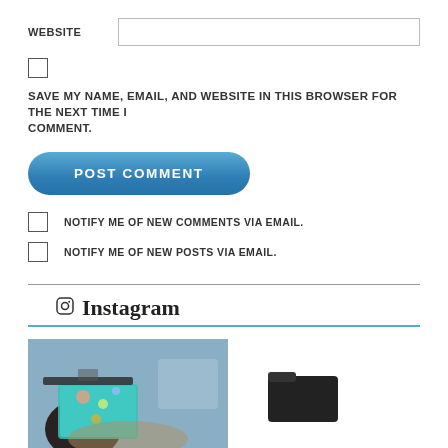WEBSITE
SAVE MY NAME, EMAIL, AND WEBSITE IN THIS BROWSER FOR THE NEXT TIME I COMMENT.
POST COMMENT
NOTIFY ME OF NEW COMMENTS VIA EMAIL.
NOTIFY ME OF NEW POSTS VIA EMAIL.
Instagram
[Figure (photo): A person wearing a decorated graduation cap with colorful stickers on a teal background, photographed in an outdoor setting with blurred background.]
[Figure (illustration): A dark folder icon placeholder.]